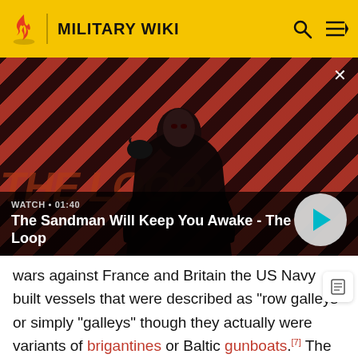MILITARY WIKI
[Figure (screenshot): Video thumbnail for 'The Sandman Will Keep You Awake - The Loop' with a dark-cloaked figure against a red diagonal-striped background, with a play button overlay. Duration shown: 01:40]
WATCH • 01:40
The Sandman Will Keep You Awake - The Loop
wars against France and Britain the US Navy built vessels that were described as "row galleys" or simply "galleys" though they actually were variants of brigantines or Baltic gunboats.[7] The description was more a characterization of their military role, and partially due to technicalities in the administration and naval financing.[8]